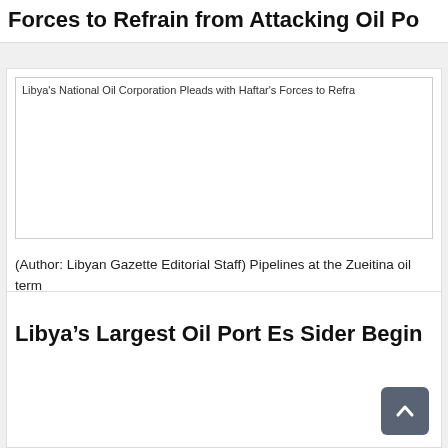Forces to Refrain from Attacking Oil Po
[Figure (photo): Libya's National Oil Corporation Pleads with Haftar's Forces to Refrain from Attacking Oil Port — broken/loading image placeholder]
(Author: Libyan Gazette Editorial Staff) Pipelines at the Zueitina oil term... Libya.Reuters Libya's National Oil Corporation (NOC) appealed to militia... from attacking or damaging the Zueitina oil port after rumours spread tha... is very likely. The NOC was worried that forces loyal to General Khalifa H...
Read more.
Libya's Largest Oil Port Es Sider Begin